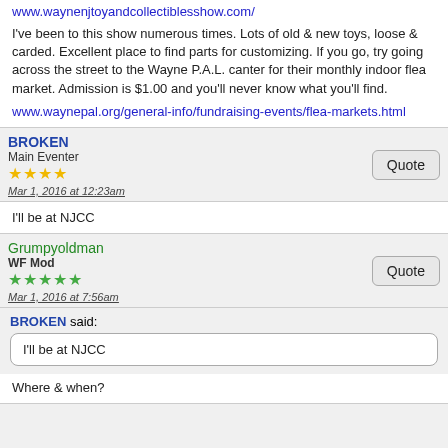www.waynenjtoyandcollectiblesshow.com/
I've been to this show numerous times. Lots of old & new toys, loose & carded. Excellent place to find parts for customizing. If you go, try going across the street to the Wayne P.A.L. canter for their monthly indoor flea market. Admission is $1.00 and you'll never know what you'll find.
www.waynepal.org/general-info/fundraising-events/flea-markets.html
BROKEN
Main Eventer
★★★★
Mar 1, 2016 at 12:23am
I'll be at NJCC
Grumpyoldman
WF Mod
★★★★★
Mar 1, 2016 at 7:56am
BROKEN said:
I'll be at NJCC
Where & when?